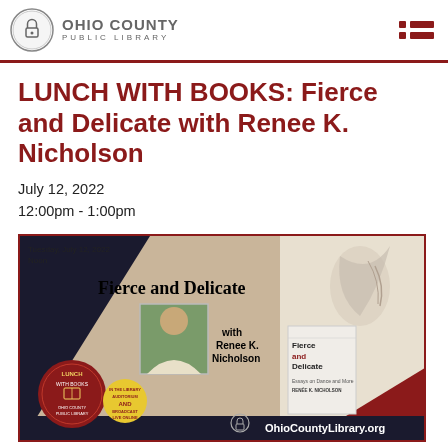OHIO COUNTY PUBLIC LIBRARY
LUNCH WITH BOOKS: Fierce and Delicate with Renee K. Nicholson
July 12, 2022
12:00pm - 1:00pm
[Figure (illustration): Event flyer for Lunch with Books featuring Fierce and Delicate with Renee K. Nicholson. Tuesday, July 12, 2022, Noon. Includes Lunch With Books Ohio County Public Library badge, photo of author, book cover, and OhioCountyLibrary.org website. In the Library Auditorium AND Broadcast Live Online.]